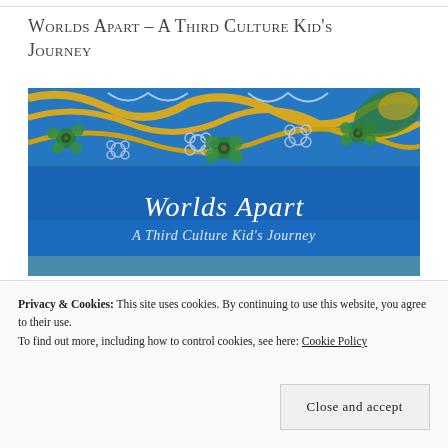Worlds Apart – A Third Culture Kid's Journey
[Figure (illustration): Book cover for 'Worlds Apart – A Third Culture Kid's Journey'. Blue background with colorful floral tile pattern at top in blues, greens, yellows and white. White italic text reads 'Worlds Apart' and below 'A Third Culture Kid's Journey'.]
Privacy & Cookies: This site uses cookies. By continuing to use this website, you agree to their use.
To find out more, including how to control cookies, see here: Cookie Policy
Close and accept